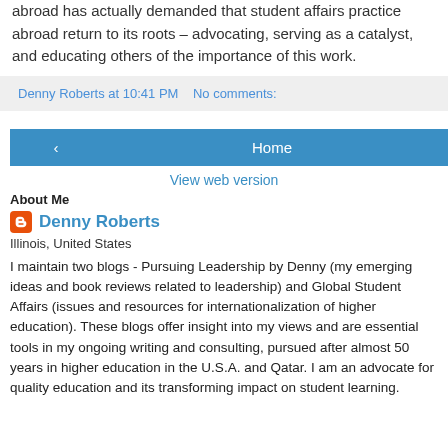abroad has actually demanded that student affairs practice abroad return to its roots – advocating, serving as a catalyst, and educating others of the importance of this work.
Denny Roberts at 10:41 PM   No comments:
[Figure (other): Navigation buttons: left arrow, Home, right arrow]
View web version
About Me
Denny Roberts
Illinois, United States
I maintain two blogs - Pursuing Leadership by Denny (my emerging ideas and book reviews related to leadership) and Global Student Affairs (issues and resources for internationalization of higher education). These blogs offer insight into my views and are essential tools in my ongoing writing and consulting, pursued after almost 50 years in higher education in the U.S.A. and Qatar. I am an advocate for quality education and its transforming impact on student learning.